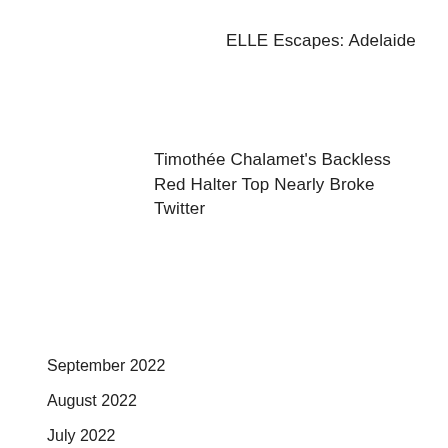ELLE Escapes: Adelaide
Timothée Chalamet's Backless Red Halter Top Nearly Broke Twitter
Archives
September 2022
August 2022
July 2022